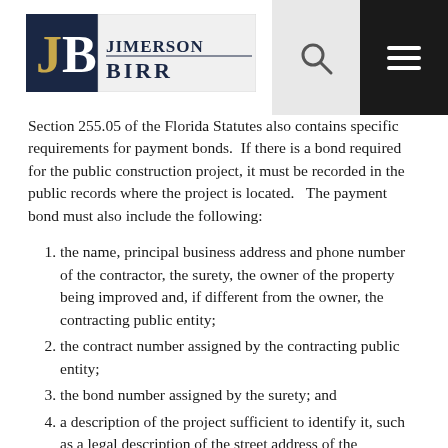Jimerson Birr [logo with search and menu]
Section 255.05 of the Florida Statutes also contains specific requirements for payment bonds.  If there is a bond required for the public construction project, it must be recorded in the public records where the project is located.   The payment bond must also include the following:
the name, principal business address and phone number of the contractor, the surety, the owner of the property being improved and, if different from the owner, the contracting public entity;
the contract number assigned by the contracting public entity;
the bond number assigned by the surety; and
a description of the project sufficient to identify it, such as a legal description of the street address of the